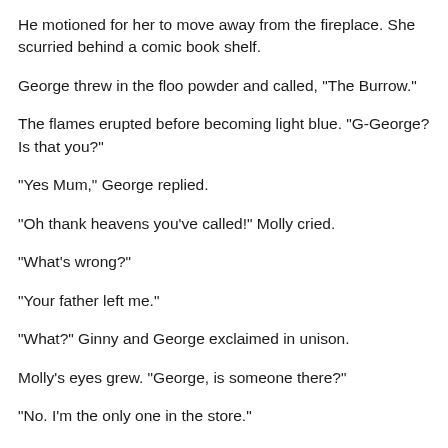He motioned for her to move away from the fireplace. She scurried behind a comic book shelf.
George threw in the floo powder and called, "The Burrow."
The flames erupted before becoming light blue. "G-George? Is that you?"
"Yes Mum," George replied.
"Oh thank heavens you've called!" Molly cried.
"What's wrong?"
"Your father left me."
"What?" Ginny and George exclaimed in unison.
Molly's eyes grew. "George, is someone there?"
"No. I'm the only one in the store."